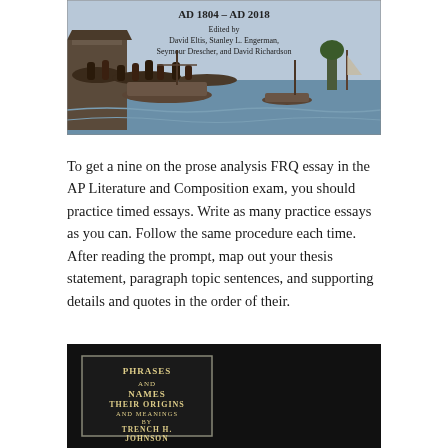[Figure (illustration): Book cover image showing a historical harbor scene with boats and people, with text 'Edited by David Eltis, Stanley L. Engerman, Seymour Drescher, and David Richardson']
To get a nine on the prose analysis FRQ essay in the AP Literature and Composition exam, you should practice timed essays. Write as many practice essays as you can. Follow the same procedure each time. After reading the prompt, map out your thesis statement, paragraph topic sentences, and supporting details and quotes in the order of their.
[Figure (photo): Book cover with black background showing text: PHRASES AND NAMES THEIR ORIGINS AND MEANINGS BY TRENCH H. JOHNSON]